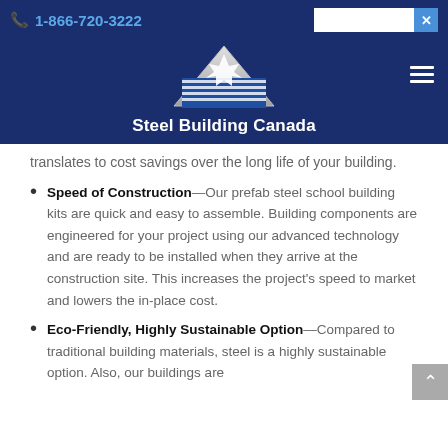Steel Building Canada — 1-866-720-3222
translates to cost savings over the long life of your building.
Speed of Construction—Our prefab steel school building kits are quick and easy to assemble. Building components are engineered for your project using our advanced technology and are ready to be installed when they arrive at the construction site. This increases the project's speed to market and lowers the in-place cost.
Eco-Friendly, Highly Sustainable Option—Compared to traditional building materials, steel is a highly sustainable option. Also, our buildings are